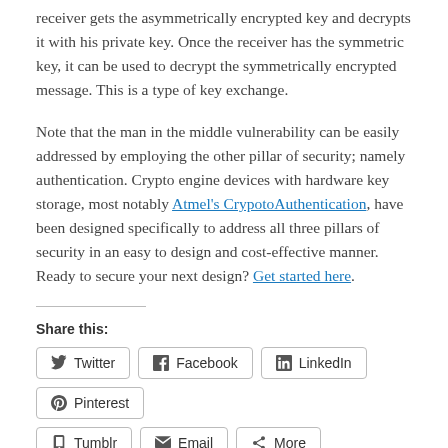receiver gets the asymmetrically encrypted key and decrypts it with his private key. Once the receiver has the symmetric key, it can be used to decrypt the symmetrically encrypted message. This is a type of key exchange.
Note that the man in the middle vulnerability can be easily addressed by employing the other pillar of security; namely authentication. Crypto engine devices with hardware key storage, most notably Atmel's CrypotoAuthentication, have been designed specifically to address all three pillars of security in an easy to design and cost-effective manner. Ready to secure your next design? Get started here.
Share this:
Twitter | Facebook | LinkedIn | Pinterest | Tumblr | Email | More
Loading...